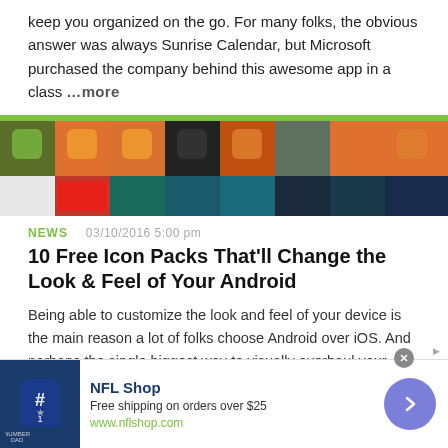keep you organized on the go. For many folks, the obvious answer was always Sunrise Calendar, but Microsoft purchased the company behind this awesome app in a class ...more
[Figure (photo): Row of colorful Android app icons / icon packs displayed on smartphones]
NEWS   03/10/2016 5:00 pm
10 Free Icon Packs That'll Change the Look & Feel of Your Android
Being able to customize the look and feel of your device is the main reason a lot of folks choose Android over iOS. And perhaps the single biggest way to visually overhaul your phone or tablet's UI is to apply an icon pack, which can liven up your home screen with bright color... more
[Figure (other): NFL Shop advertisement banner with Dallas Cowboys shirt image, Free shipping on orders over $25, www.nflshop.com]